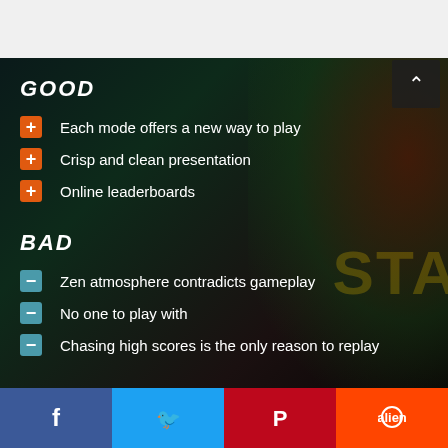GOOD
Each mode offers a new way to play
Crisp and clean presentation
Online leaderboards
BAD
Zen atmosphere contradicts gameplay
No one to play with
Chasing high scores is the only reason to replay
[Figure (illustration): Dark gaming background with orange/green tones and partial game artwork showing 'STA' text]
Facebook | Twitter | Pinterest | Reddit social share buttons